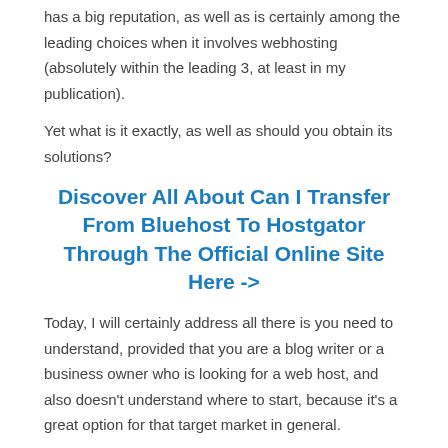has a big reputation, as well as is certainly among the leading choices when it involves webhosting (absolutely within the leading 3, at least in my publication).
Yet what is it exactly, as well as should you obtain its solutions?
Discover All About Can I Transfer From Bluehost To Hostgator Through The Official Online Site Here ->
Today, I will certainly address all there is you need to understand, provided that you are a blog writer or a business owner who is looking for a web host, and also doesn't understand where to start, because it's a great option for that target market in general.
Allow's visualize, you want to host your sites and also make them noticeable. Okay?
Now, on this journey, you would certainly blah blah additionally be...